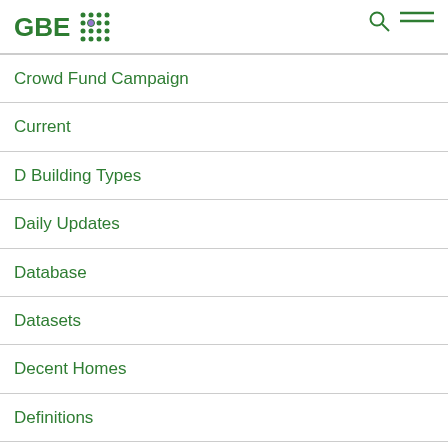GBE
Crowd Fund Campaign
Current
D Building Types
Daily Updates
Database
Datasets
Decent Homes
Definitions
Design